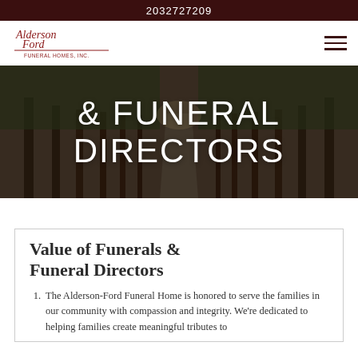2032727209
[Figure (logo): Alderson Ford Funeral Homes Inc. script logo in dark red]
[Figure (photo): Tree-lined road disappearing into the distance, dark forest scene, used as hero background image]
& FUNERAL DIRECTORS
Value of Funerals & Funeral Directors
The Alderson-Ford Funeral Home is honored to serve the families in our community with compassion and integrity. We're dedicated to helping families create meaningful tributes to